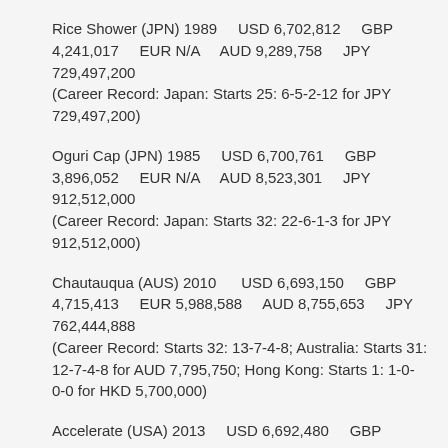Rice Shower (JPN) 1989     USD 6,702,812     GBP 4,241,017     EUR N/A     AUD 9,289,758     JPY 729,497,200
(Career Record: Japan: Starts 25: 6-5-2-12 for JPY 729,497,200)
Oguri Cap (JPN) 1985     USD 6,700,761     GBP 3,896,052     EUR N/A     AUD 8,523,301     JPY 912,512,000
(Career Record: Japan: Starts 32: 22-6-1-3 for JPY 912,512,000)
Chautauqua (AUS) 2010     USD 6,693,150     GBP 4,715,413     EUR 5,988,588     AUD 8,755,653     JPY 762,444,888
(Career Record: Starts 32: 13-7-4-8; Australia: Starts 31: 12-7-4-8 for AUD 7,795,750; Hong Kong: Starts 1: 1-0-0-0 for HKD 5,700,000)
Accelerate (USA) 2013     USD 6,692,480     GBP 5,113,933     EUR 5,824,983     AUD 9,115,247     JPY 743,523,073